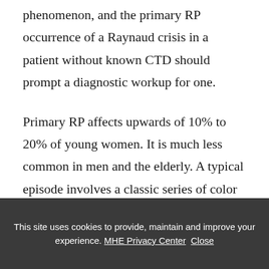Raynaud phenomenon, and the primary RP occurrence of a Raynaud crisis in a patient without known CTD should prompt a diagnostic workup for one.
Primary RP affects upwards of 10% to 20% of young women. It is much less common in men and the elderly. A typical episode involves a classic series of color changes. Digits first turn white in a demarcated fashion, as digital arteries vasoconstrict in response to cold (Figure 246-2). With prolonged vasoconstriction, digits become blue or purple because of tissue
This site uses cookies to provide, maintain and improve your experience. MHE Privacy Center  Close